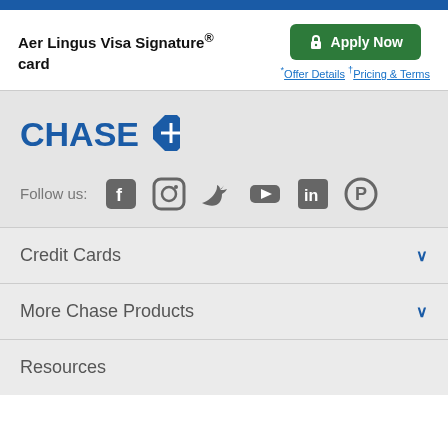Aer Lingus Visa Signature® card
Apply Now
* Offer Details † Pricing & Terms
[Figure (logo): Chase logo with blue octagon icon]
Follow us:
[Figure (infographic): Social media icons: Facebook, Instagram, Twitter, YouTube, LinkedIn, Pinterest]
Credit Cards
More Chase Products
Resources